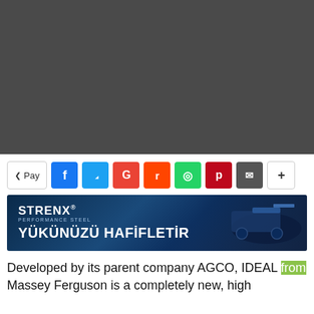[Figure (other): Dark gray video placeholder area]
[Figure (infographic): Social sharing bar with Pay button, Facebook, Twitter, Google, Reddit, WhatsApp, Pinterest, Email, and More buttons]
[Figure (other): STRENX Performance Steel advertisement banner with text YÜKÜNÜZÜ HAFİFLETİR and industrial machinery image]
Developed by its parent company AGCO, IDEAL from Massey Ferguson is a completely new, high